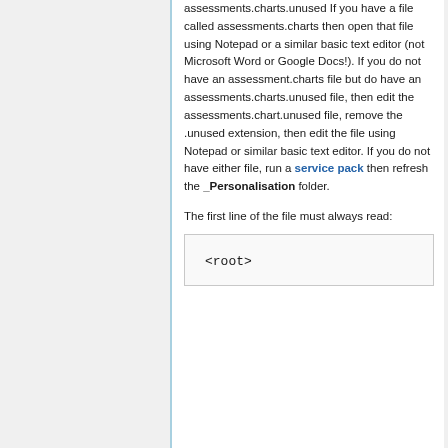assessments.charts.unused If you have a file called assessments.charts then open that file using Notepad or a similar basic text editor (not Microsoft Word or Google Docs!). If you do not have an assessment.charts file but do have an assessments.charts.unused file, then edit the assessments.chart.unused file, remove the .unused extension, then edit the file using Notepad or similar basic text editor. If you do not have either file, run a service pack then refresh the _Personalisation folder.
The first line of the file must always read:
<root>